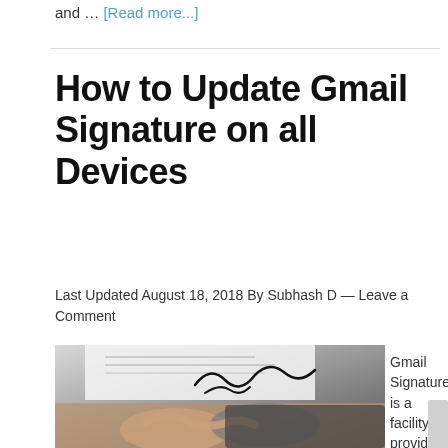and … [Read more...]
How to Update Gmail Signature on all Devices
Last Updated August 18, 2018 By Subhash D — Leave a Comment
[Figure (photo): Photo of two people shaking hands over a signed document with a handwritten signature visible]
Gmail Signature is a facility provided by Google that